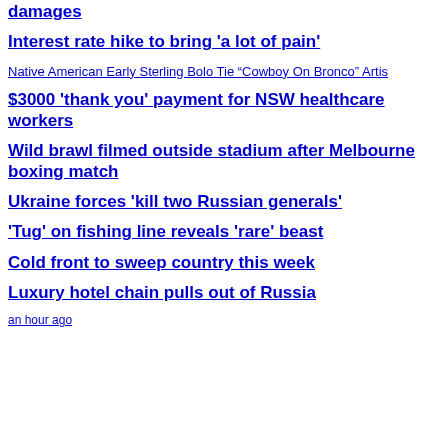damages
Interest rate hike to bring 'a lot of pain'
Native American Early Sterling Bolo Tie “Cowboy On Bronco” Artis
$3000 'thank you' payment for NSW healthcare workers
Wild brawl filmed outside stadium after Melbourne boxing match
Ukraine forces 'kill two Russian generals'
'Tug' on fishing line reveals 'rare' beast
Cold front to sweep country this week
Luxury hotel chain pulls out of Russia
an hour ago